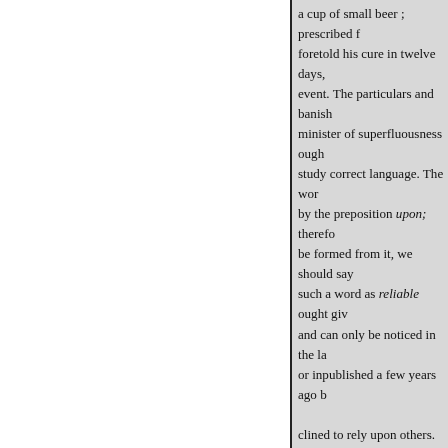a cup of small beer ; prescribed f foretold his cure in twelve days, event. The particulars and banish minister of superfluousness ough study correct language. The wor by the preposition upon; therefo be formed from it, we should say such a word as reliable ought giv and can only be noticed in the la or inpublished a few years ago b clined to rely upon others. It is a
EIRIONNACH.
thing to be relied upon. But we h clumsily constructed and monstr language abounds with words ex which this vile comabroad," not We can derived from the verb "t cock of hay. There is no reason, Milton meant by "tedded grass," a special fitness in thentic, respe for we all doubted, incontrovert is worthy of credit, to be fully de